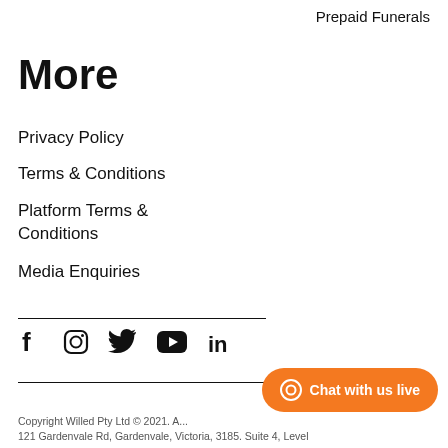Prepaid Funerals
More
Privacy Policy
Terms & Conditions
Platform Terms & Conditions
Media Enquiries
[Figure (infographic): Social media icons: Facebook, Instagram, Twitter, YouTube, LinkedIn]
Copyright Willed Pty Ltd © 2021. A... 121 Gardenvale Rd, Gardenvale, Victoria, 3185. Suite 4, Level